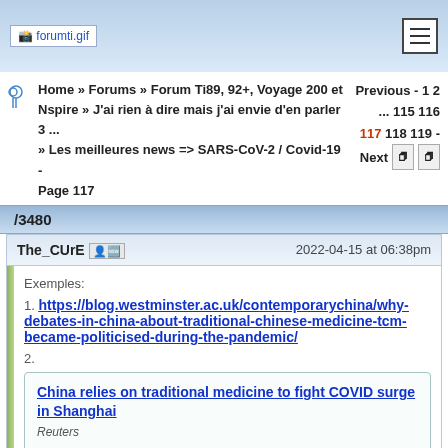forumti.gif
Home » Forums » Forum Ti89, 92+, Voyage 200 et Nspire » J'ai rien à dire mais j'ai envie d'en parler 3 ... 115 116 » Les meilleures news => SARS-CoV-2 / Covid-19 - Page 117
Previous - 1 2 ... 115 116 117 118 119 - Next
/3480
The_CUrE   2022-04-15 at 06:38pm
Exemples:
1. https://blog.westminster.ac.uk/contemporarychina/why-debates-in-china-about-traditional-chinese-medicine-tcm-became-politicised-during-the-pandemic/

2.
China relies on traditional medicine to fight COVID surge in Shanghai
Reuters
Shanghai is distributing to residents millions of boxes of traditional Chinese medicine (TCM), such as herbal products and flu capsules, which it says can treat COVID-19 in the battle to control its largest virus outbreak.